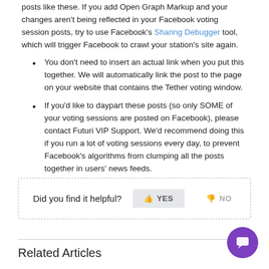posts like these. If you add Open Graph Markup and your changes aren't being reflected in your Facebook voting session posts, try to use Facebook's Sharing Debugger tool, which will trigger Facebook to crawl your station's site again.
You don't need to insert an actual link when you put this together. We will automatically link the post to the page on your website that contains the Tether voting window.
If you'd like to daypart these posts (so only SOME of your voting sessions are posted on Facebook), please contact Futuri VIP Support. We'd recommend doing this if you run a lot of voting sessions every day, to prevent Facebook's algorithms from clumping all the posts together in users' news feeds.
Did you find it helpful? YES NO
Related Articles